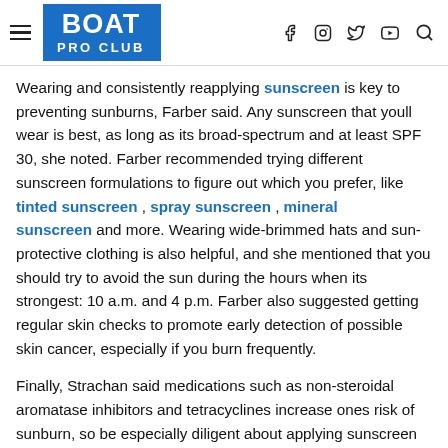BOAT PRO CLUB
Wearing and consistently reapplying sunscreen is key to preventing sunburns, Farber said. Any sunscreen that youll wear is best, as long as its broad-spectrum and at least SPF 30, she noted. Farber recommended trying different sunscreen formulations to figure out which you prefer, like tinted sunscreen , spray sunscreen , mineral sunscreen and more. Wearing wide-brimmed hats and sun-protective clothing is also helpful, and she mentioned that you should try to avoid the sun during the hours when its strongest: 10 a.m. and 4 p.m. Farber also suggested getting regular skin checks to promote early detection of possible skin cancer, especially if you burn frequently.
Finally, Strachan said medications such as non-steroidal aromatase inhibitors and tetracyclines increase ones risk of sunburn, so be especially diligent about applying sunscreen and taking other sun damage prevention measures if you use